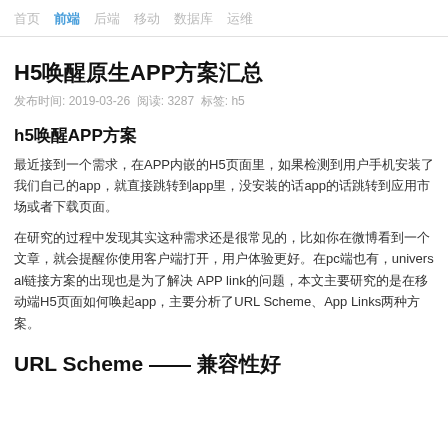首页  前端  后端  移动  数据库  运维
H5唤醒原生APP方案汇总
发布时间: 2019-03-26  阅读: 3287  标签: h5
h5唤醒APP方案
最近接到一个需求，在APP内嵌的H5页面里，如果检测到用户手机安装了我们自己的app，就直接跳转到app里，没安装的话app的话跳转到应用市场或者下载页面。
在研究的过程中发现其实这种需求还是很常见的，比如你在微博看到一个文章，就会提醒你使用客户端打开，用户体验更好。在pc端也有，universal链接方案的出现也是为了解决 APP link的问题，本文主要研究的是在移动端H5页面如何唤起app，主要分析了URL Scheme、App Links两种方案。
URL Scheme —— 兼容性好